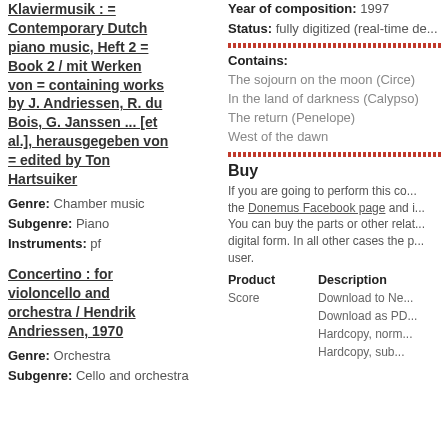Klaviermusik : = Contemporary Dutch piano music, Heft 2 = Book 2 / mit Werken von = containing works by J. Andriessen, R. du Bois, G. Janssen ... [et al.], herausgegeben von = edited by Ton Hartsuiker
Genre: Chamber music
Subgenre: Piano
Instruments: pf
Concertino : for violoncello and orchestra / Hendrik Andriessen, 1970
Genre: Orchestra
Subgenre: Cello and orchestra
Year of composition: 1997
Status: fully digitized (real-time de...
Contains:
The sojourn on the moon (Circe)
In the land of darkness (Calypso)
The return (Penelope)
West of the dawn
Buy
If you are going to perform this co... the Donemus Facebook page and i... You can buy the parts or other rela... digital form. In all other cases the p... user.
| Product | Description |
| --- | --- |
| Score | Download to Ne... |
|  | Download as PD... |
|  | Hardcopy, norm... |
|  | Hardcopy, sub... |